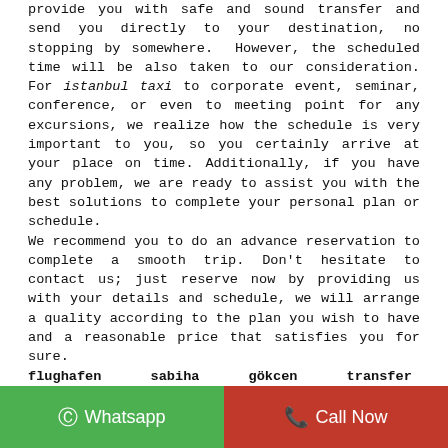provide you with safe and sound transfer and send you directly to your destination, no stopping by somewhere. However, the scheduled time will be also taken to our consideration. For istanbul taxi to corporate event, seminar, conference, or even to meeting point for any excursions, we realize how the schedule is very important to you, so you certainly arrive at your place on time. Additionally, if you have any problem, we are ready to assist you with the best solutions to complete your personal plan or schedule.
We recommend you to do an advance reservation to complete a smooth trip. Don't hesitate to contact us; just reserve now by providing us with your details and schedule, we will arrange a quality according to the plan you wish to have and a reasonable price that satisfies you for sure.
flughafen sabiha gökcen transfer Gayrettepe - We offer a private Istanbul airport transfer service . You can reach us in every way . You can reach us 7 days a
© Whatsapp
Call Now